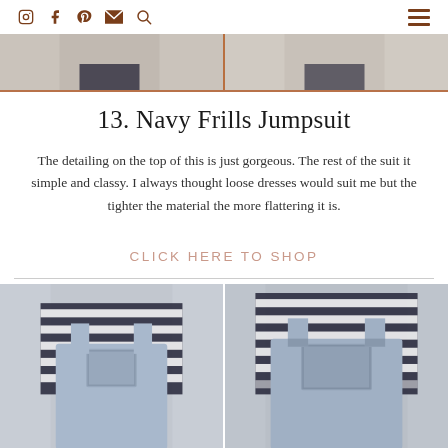Social media icons: Instagram, Facebook, Pinterest, Email, Search; Hamburger menu
[Figure (photo): Two cropped fashion photos at top strip showing clothing on models]
13. Navy Frills Jumpsuit
The detailing on the top of this is just gorgeous. The rest of the suit it simple and classy. I always thought loose dresses would suit me but the tighter the material the more flattering it is.
CLICK HERE TO SHOP
[Figure (photo): Two side-by-side photos of a model wearing light blue denim overalls with a black and white striped long-sleeve top]